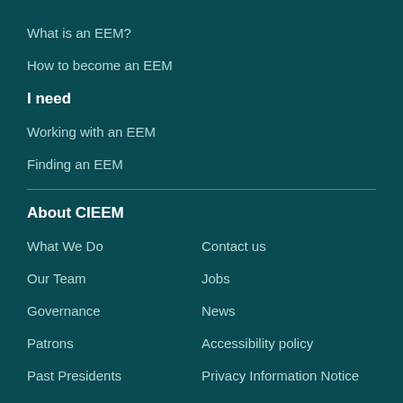What is an EEM?
How to become an EEM
I need
Working with an EEM
Finding an EEM
About CIEEM
What We Do
Contact us
Our Team
Jobs
Governance
News
Patrons
Accessibility policy
Past Presidents
Privacy Information Notice
CIEEM Awards
Terms of use